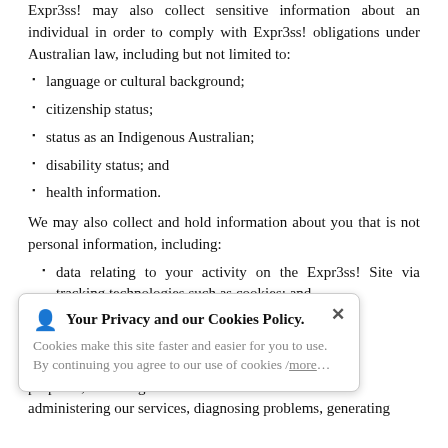Expr3ss! may also collect sensitive information about an individual in order to comply with Expr3ss! obligations under Australian law, including but not limited to:
language or cultural background;
citizenship status;
status as an Indigenous Australian;
disability status; and
health information.
We may also collect and hold information about you that is not personal information, including:
data relating to your activity on the Expr3ss! Site via tracking technologies such as cookies; and
of operating system ne of your Internet
[Figure (screenshot): Cookie consent popup overlay with title 'Your Privacy and our Cookies Policy', text 'Cookies make this site faster and easier for you to use. By continuing you agree to our use of cookies /more...' and a close button (×)]
purposes, including administering our services, diagnosing problems, generating